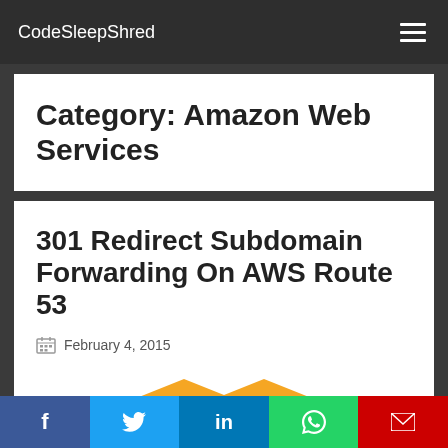CodeSleepShred
Category: Amazon Web Services
301 Redirect Subdomain Forwarding On AWS Route 53
February 4, 2015
[Figure (illustration): Two yellow 3D cube boxes representing AWS S3 buckets]
f  twitter  in  whatsapp  email